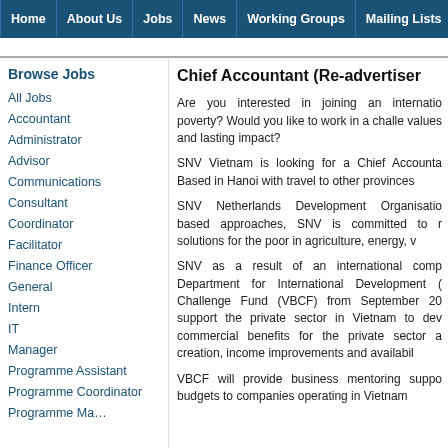Home | About Us | Jobs | News | Working Groups | Mailing Lists | INGO
Browse Jobs
All Jobs
Accountant
Administrator
Advisor
Communications
Consultant
Coordinator
Facilitator
Finance Officer
General
Intern
IT
Manager
Programme Assistant
Programme Coordinator
Chief Accountant (Re-advertiser
Are you interested in joining an internatio poverty? Would you like to work in a challe values and lasting impact?
SNV Vietnam is looking for a Chief Accounta Based in Hanoi with travel to other provinces
SNV Netherlands Development Organisatio based approaches, SNV is committed to r solutions for the poor in agriculture, energy, v
SNV as a result of an international comp Department for International Development ( Challenge Fund (VBCF) from September 20 support the private sector in Vietnam to dev commercial benefits for the private sector a creation, income improvements and availabil
VBCF will provide business mentoring suppo budgets to companies operating in Vietnam that will be all the re-advertised.